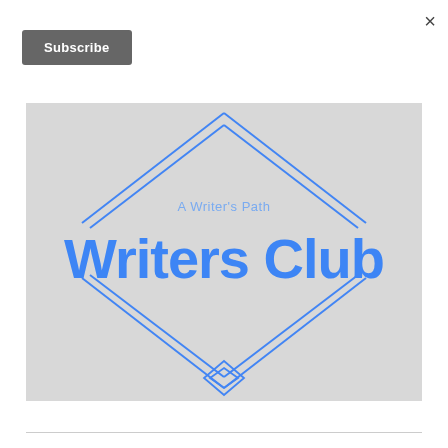×
Subscribe
[Figure (logo): Writers Club logo on light grey background. Diamond/rhombus geometric outline shapes in blue surround bold blue text reading 'Writers Club' with smaller text above reading 'A Writer's Path'.]